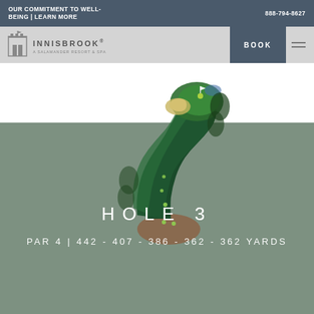OUR COMMITMENT TO WELL-BEING | LEARN MORE   888-794-8627
[Figure (logo): Innisbrook resort logo with building icon and text]
[Figure (illustration): Aerial view illustration of golf hole 3, showing fairway and green in dark green tones, curved shape]
HOLE 3
PAR 4 | 442 - 407 - 386 - 362 - 362 YARDS